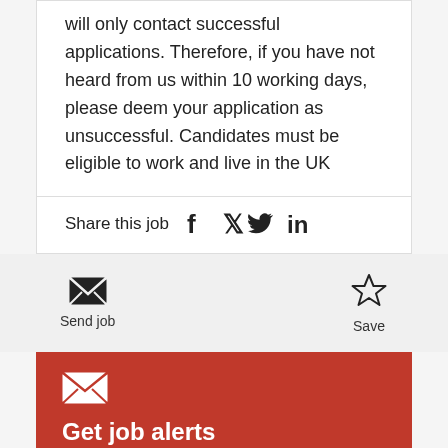will only contact successful applications. Therefore, if you have not heard from us within 10 working days, please deem your application as unsuccessful. Candidates must be eligible to work and live in the UK
Share this job
[Figure (infographic): Send job button with envelope icon and Save button with star icon on grey background]
[Figure (infographic): Red card with white envelope icon, 'Get job alerts' heading, and text 'Create a job alert and receive personalised job recommendations straight to your inbox.']